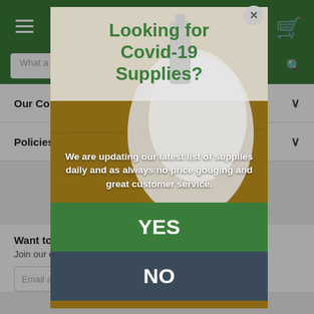[Figure (screenshot): E-commerce website background showing a green header navigation bar with hamburger menu, search bar, and cart icon. Below are accordion items (Our Co..., Policies...) and an email signup section with 'Want to' text and email input field.]
[Figure (screenshot): Modal popup overlay on an e-commerce website. Shows a photo background with COVID-19 supplies (masks, sanitizer). Contains title 'Looking for Covid-19 Supplies?', body text about updating supply list daily with no price gouging, and two buttons: YES (green) and NO (dark).]
Looking for Covid-19 Supplies?
We are updating our latest list of supplies daily and as always no price gouging and great customer service.
YES
NO